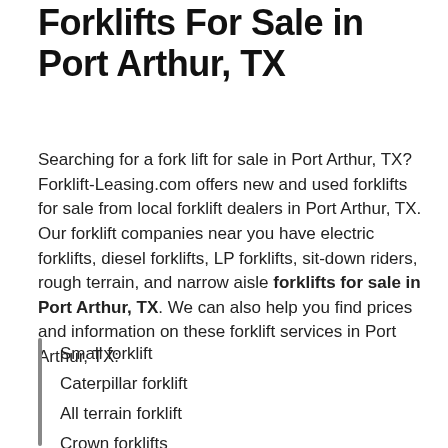Forklifts For Sale in Port Arthur, TX
Searching for a fork lift for sale in Port Arthur, TX? Forklift-Leasing.com offers new and used forklifts for sale from local forklift dealers in Port Arthur, TX. Our forklift companies near you have electric forklifts, diesel forklifts, LP forklifts, sit-down riders, rough terrain, and narrow aisle forklifts for sale in Port Arthur, TX. We can also help you find prices and information on these forklift services in Port Arthur, TX:
Small forklift
Caterpillar forklift
All terrain forklift
Crown forklifts
Fork truck
Lindo forklift